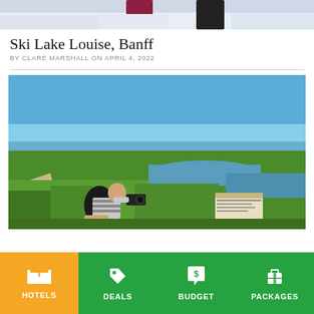[Figure (photo): Cropped top photo showing people in winter gear on snow]
Ski Lake Louise, Banff
BY CLARE MARSHALL ON APRIL 4, 2022
[Figure (photo): Person with camera and backpack kneeling and photographing a wetland marsh landscape with green grass, water channels, and an informational sign under a clear blue sky]
HOTELS
DEALS
BUDGET
PACKAGES